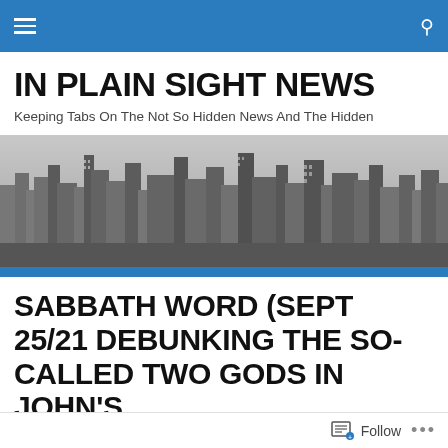IN PLAIN SIGHT NEWS
Keeping Tabs On The Not So Hidden News And The Hidden
[Figure (photo): Black and white aerial cityscape photo showing a dense urban skyline with many skyscrapers]
SABBATH WORD (SEPT 25/21 DEBUNKING THE SO-CALLED TWO GODS IN JOHN'S GOSPEL